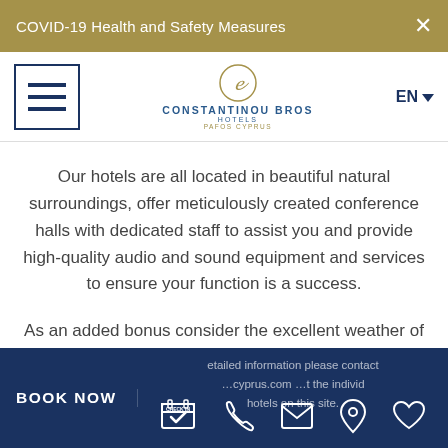COVID-19 Health and Safety Measures
[Figure (logo): Constantinou Bros Hotels logo with hamburger menu and EN language selector]
Our hotels are all located in beautiful natural surroundings, offer meticulously created conference halls with dedicated staff to assist you and provide high-quality audio and sound equipment and services to ensure your function is a success.
As an added bonus consider the excellent weather of Cyprus, the wide variety of leisure options offered in our hotels during the day and the evening as well as the fine dining and rest assured that your business meetings can be extended to memorable holidays.
BOOK NOW  ...etailed information please contact  ...cyprus.com ...t the individual ...hotels on this site.